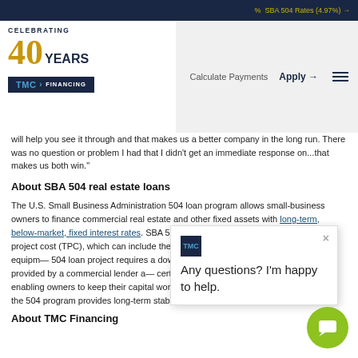SBA 504 Rates (4.97%) →
[Figure (logo): TMC Financing logo with 'Celebrating 40 Years' text and TMC Financing blue banner logo]
Calculate Payments   Apply →
will help you see it through and that makes us a better company in the long run. There was no question or problem I had that I didn't get an immediate response on...that makes us both win."
About SBA 504 real estate loans
The U.S. Small Business Administration 504 loan program allows small-business owners to finance commercial real estate and other fixed assets with long-term, below-market, fixed interest rates. SBA 504 loans can be used to finance the total project cost (TPC), which can include the pu— a price construction/renovations, equipm— 504 loan project requires a down — the borrower, with the remaining a— provided by a commercial lender a— certified development company (CDC). By enabling owners to keep their capital working to grow the business and create jobs, the 504 program provides long-term stability to both businesses and communities.
[Figure (screenshot): Chat popup overlay with TMC logo icon, close button (×), and text 'Any questions? I'm happy to help.']
About TMC Financing